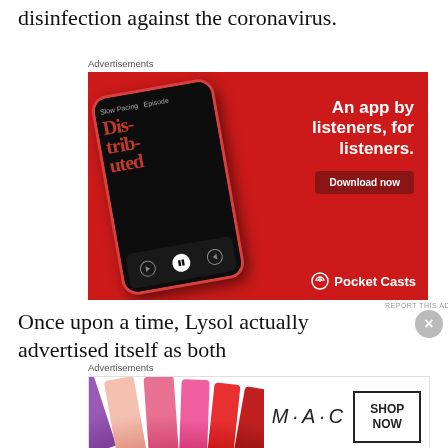disinfection against the coronavirus.
[Figure (photo): Pocket Casts advertisement showing a smartphone with a podcast app displaying 'Distributed' episode, on red background with text 'An app by listeners, for listeners.' and 'Download now' button]
Once upon a time, Lysol actually advertised itself as both
[Figure (photo): MAC Cosmetics advertisement showing colorful lipsticks on the left, MAC wordmark in center, and a Shop Now box on the right]